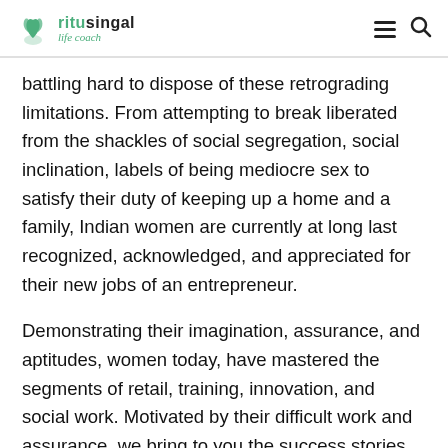ritusingal life coach
battling hard to dispose of these retrograding limitations. From attempting to break liberated from the shackles of social segregation, social inclination, labels of being mediocre sex to satisfy their duty of keeping up a home and a family, Indian women are currently at long last recognized, acknowledged, and appreciated for their new jobs of an entrepreneur.
Demonstrating their imagination, assurance, and aptitudes, women today, have mastered the segments of retail, training, innovation, and social work. Motivated by their difficult work and assurance, we bring to you the success stories of effective and inspiring Indian Women.